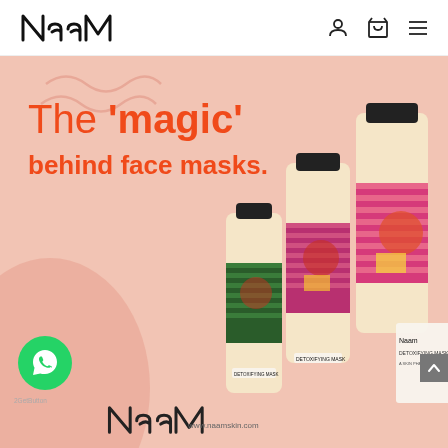Naam - navigation bar with logo, user icon, cart icon, menu icon
[Figure (photo): Website screenshot showing the Naam skincare brand hero section with salmon/peach background, the text 'The magic behind face masks.' in red/orange, three Naam Detoxifying Mask product bottles on the right, a WhatsApp chat button bottom-left, the Naam logo at bottom center, and www.naamskin.com URL.]